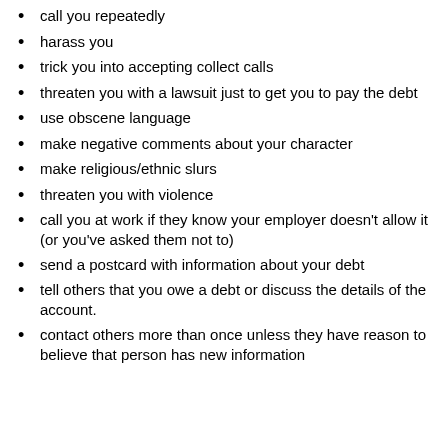call you repeatedly
harass you
trick you into accepting collect calls
threaten you with a lawsuit just to get you to pay the debt
use obscene language
make negative comments about your character
make religious/ethnic slurs
threaten you with violence
call you at work if they know your employer doesn't allow it (or you've asked them not to)
send a postcard with information about your debt
tell others that you owe a debt or discuss the details of the account.
contact others more than once unless they have reason to believe that person has new information